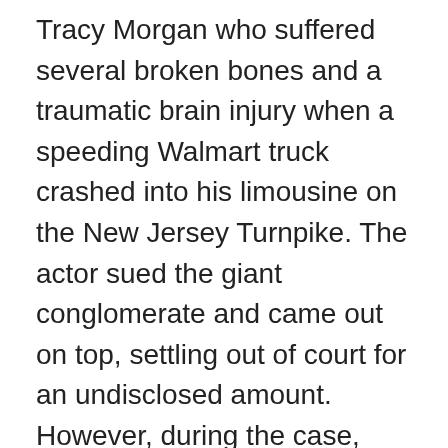Tracy Morgan who suffered several broken bones and a traumatic brain injury when a speeding Walmart truck crashed into his limousine on the New Jersey Turnpike. The actor sued the giant conglomerate and came out on top, settling out of court for an undisclosed amount. However, during the case, Walmart's lawyers tried to argue that Morgan's injuries were due to his failure to wear a proper safety restraint while riding in the limousine. Were it not for an experienced and astute attorney who had the relevant experience defending car accident victims, the comedian could have had a completely different and disappointing legal experience. I sincerely believe that establishing on whose shoulders the responsibility for the accident lies and then going after the party at fault can only be achieved if there is a team of lawyers working and communicating together to figure out the best